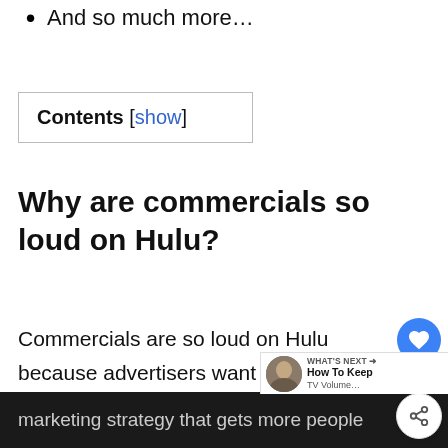And so much more…
Contents [show]
Why are commercials so loud on Hulu?
Commercials are so loud on Hulu because advertisers want to grab viewers' attention. They believe loud contents are easier to remember marketing strategy that gets more people